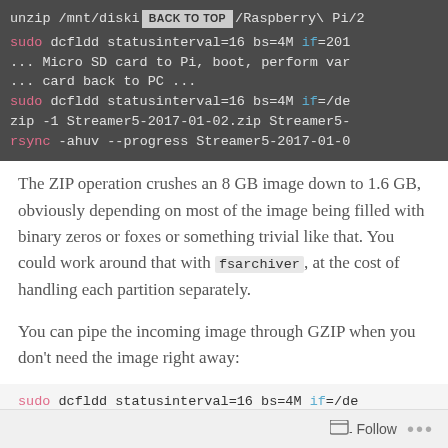unzip /mnt/diski.../Raspberry\ Pi/2  BACK TO TOP
sudo dcfldd statusinterval=16 bs=4M if=201
... Micro SD card to Pi, boot, perform var
... card back to PC ...
sudo dcfldd statusinterval=16 bs=4M if=/de
zip -1 Streamer5-2017-01-02.zip Streamer5-
rsync -ahuv --progress Streamer5-2017-01-0
The ZIP operation crushes an 8 GB image down to 1.6 GB, obviously depending on most of the image being filled with binary zeros or foxes or something trivial like that. You could work around that with fsarchiver, at the cost of handling each partition separately.
You can pipe the incoming image through GZIP when you don’t need the image right away:
sudo dcfldd statusinterval=16 bs=4M if=/de
Follow ...